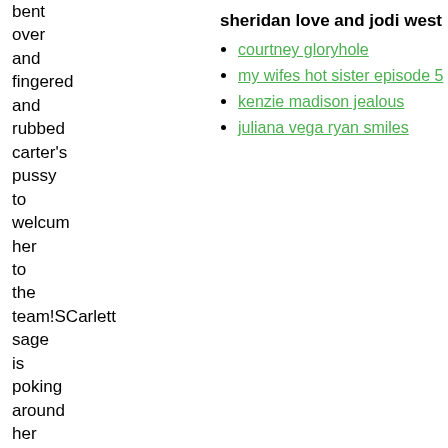bent over and fingered and rubbed carter's pussy to welcum her to the team!SCarlett sage is poking around her
sheridan love and jodi west
courtney gloryhole
my wifes hot sister episode 5
kenzie madison jealous
juliana vega ryan smiles